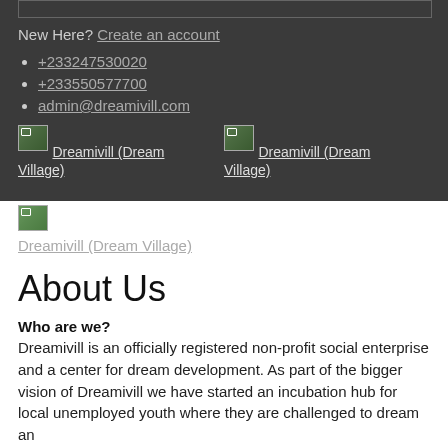New Here? Create an account
+233247530020
+233550577700
admin@dreamivill.com
[Figure (photo): Broken image thumbnail for Dreamivill (Dream Village) social link]
[Figure (photo): Broken image thumbnail for Dreamivill (Dream Village) social link]
[Figure (photo): Broken image thumbnail for Dreamivill (Dream Village) social link, shown in white background section]
About Us
Who are we?
Dreamivill is an officially registered non-profit social enterprise and a center for dream development. As part of the bigger vision of Dreamivill we have started an incubation hub for local unemployed youth where they are challenged to dream an